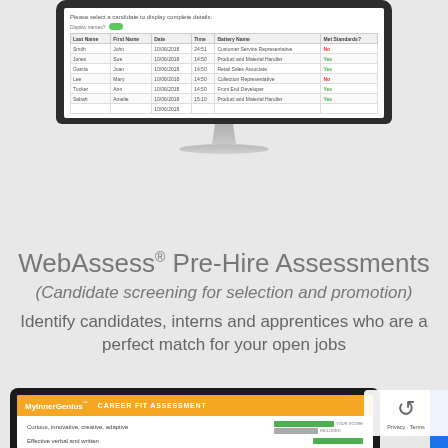[Figure (screenshot): Desktop monitor showing a candidate assessment table with columns: Last Name, First Name, Date, Time, Battery Name, Met Standards? Rows include Smith/John, Jones/Sue, Garcia/Juan, Lee/Mary, Tucker/Ann, Sabah/Amelie with dates 10/06/2018 and various Met Standards Yes/No values.]
WebAssess® Pre-Hire Assessments
(Candidate screening for selection and promotion)
Identify candidates, interns and apprentices who are a perfect match for your open jobs
[Figure (screenshot): Tablet showing MyInnerGenius Career Fit Assessment interface with orange header bar, rows 'Curious, innovative, creative, adaptive' and 'Effective verbal and written' with green YOUR SCORE bars and gray INCLUDED bars.]